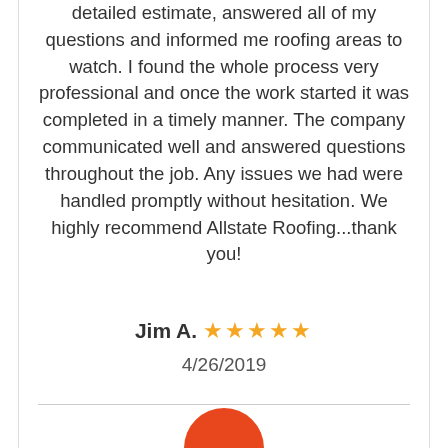detailed estimate, answered all of my questions and informed me roofing areas to watch. I found the whole process very professional and once the work started it was completed in a timely manner. The company communicated well and answered questions throughout the job. Any issues we had were handled promptly without hesitation. We highly recommend Allstate Roofing...thank you!
Jim A. ★★★★★ 4/26/2019
[Figure (illustration): Orange circular avatar/profile picture, partially visible at bottom of page]